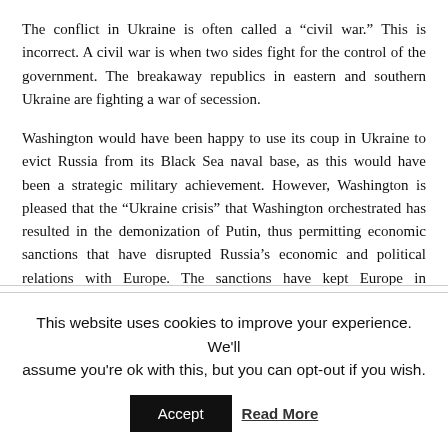The conflict in Ukraine is often called a “civil war.” This is incorrect. A civil war is when two sides fight for the control of the government. The breakaway republics in eastern and southern Ukraine are fighting a war of secession.
Washington would have been happy to use its coup in Ukraine to evict Russia from its Black Sea naval base, as this would have been a strategic military achievement. However, Washington is pleased that the “Ukraine crisis” that Washington orchestrated has resulted in the demonization of Putin, thus permitting economic sanctions that have disrupted Russia’s economic and political relations with Europe. The sanctions have kept Europe in Washington’s orbit.
No Interest in Peace
This website uses cookies to improve your experience. We'll assume you're ok with this, but you can opt-out if you wish.